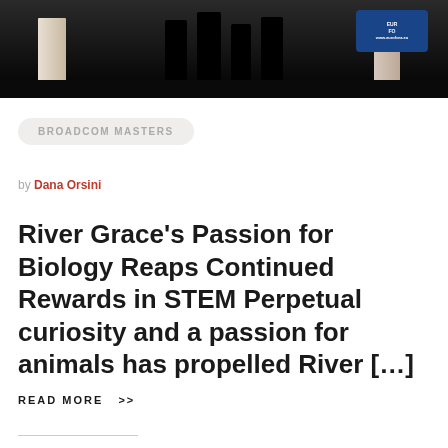[Figure (photo): People standing on a dark stage in front of event banners, with a blue European Forum sign visible on the right side]
BROADCOM MASTERS
by Dana Orsini
River Grace's Passion for Biology Reaps Continued Rewards in STEM Perpetual curiosity and a passion for animals has propelled River […]
READ MORE  >>